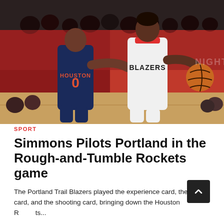[Figure (photo): Basketball game action shot: A Portland Trail Blazers player in white BLAZERS jersey dribbling past a Houston Rockets player in navy HOUSTON #0 jersey, with a crowd of spectators in background inside an arena.]
SPORT
Simmons Pilots Portland in the Rough-and-Tumble Rockets game
The Portland Trail Blazers played the experience card, the ability card, and the shooting card, bringing down the Houston Rockets...
7 MONTHS AGO   KOMAL PATIL